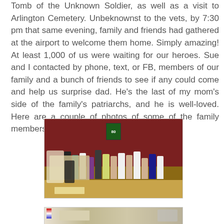Tomb of the Unknown Soldier, as well as a visit to Arlington Cemetery. Unbeknownst to the vets, by 7:30 pm that same evening, family and friends had gathered at the airport to welcome them home. Simply amazing! At least 1,000 of us were waiting for our heroes. Sue and I contacted by phone, text, or FB, members of our family and a bunch of friends to see if any could come and help us surprise dad. He's the last of my mom's side of the family's patriarchs, and he is well-loved. Here are a couple of photos of some of the family members who showed up to greet him.
[Figure (photo): Group photo of approximately 20 family members gathered inside a restaurant with dark red walls, sports memorabilia including a green jersey with number 80, seated and standing around tables.]
[Figure (photo): Second group photo partially visible at bottom of page, appears to show people gathered in a room with an American flag visible on the left side.]